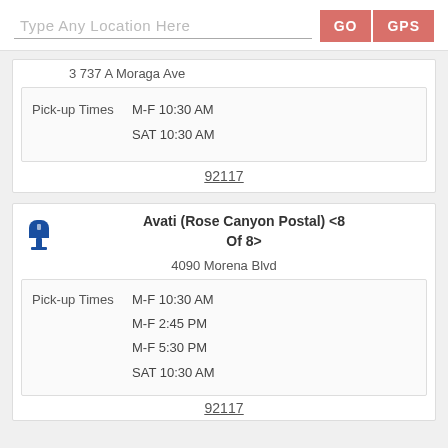Type Any Location Here | GO | GPS
3737 A Moraga Ave
Pick-up Times
M-F 10:30 AM
SAT 10:30 AM
92117
Avati (Rose Canyon Postal) <8 Of 8>
4090 Morena Blvd
Pick-up Times
M-F 10:30 AM
M-F 2:45 PM
M-F 5:30 PM
SAT 10:30 AM
92117